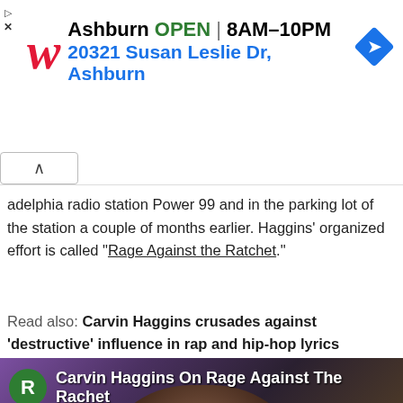[Figure (screenshot): Walgreens advertisement banner: logo with red italic W, text 'Ashburn OPEN | 8AM–10PM' and '20321 Susan Leslie Dr, Ashburn', blue navigation/directions diamond icon. Collapse button and close/play controls visible.]
adelphia radio station Power 99 and in the parking lot of the station a couple of months earlier. Haggins' organized effort is called "Rage Against the Ratchet."
Read also: Carvin Haggins crusades against 'destructive' influence in rap and hip-hop lyrics
[Figure (screenshot): Video thumbnail showing a man's face against a purple/dark background, with green R icon and white text 'Carvin Haggins On Rage Against The Rachet']